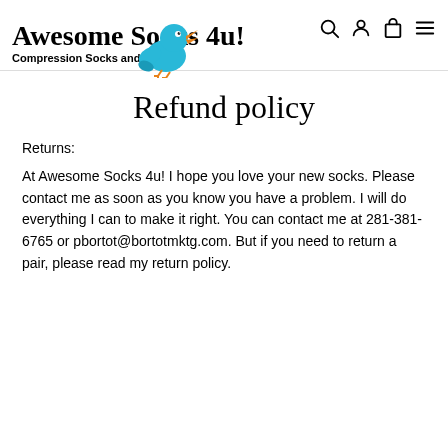[Figure (logo): Awesome Socks 4u! logo with a cartoon blue bird and the text 'Awesome Socks 4u! Compression Socks and More']
Refund policy
Returns:
At Awesome Socks 4u! I hope you love your new socks. Please contact me as soon as you know you have a problem. I will do everything I can to make it right. You can contact me at 281-381-6765 or pbortot@bortotmktg.com. But if you need to return a pair, please read my return policy.